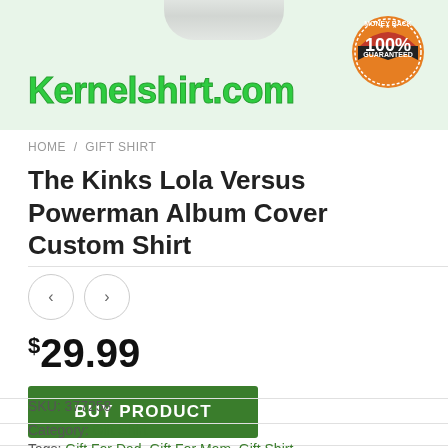[Figure (screenshot): E-commerce product page banner with Kernelshirt.com logo in green text on light green background, shirt image at top, and money back guarantee badge in top right]
HOME / GIFT SHIRT
The Kinks Lola Versus Powerman Album Cover Custom Shirt
$29.99
BUY PRODUCT
SKU: 377258
Category: Gift Shirt
Tags: Gift For Dad, Gift For Mom, Gift Shirt